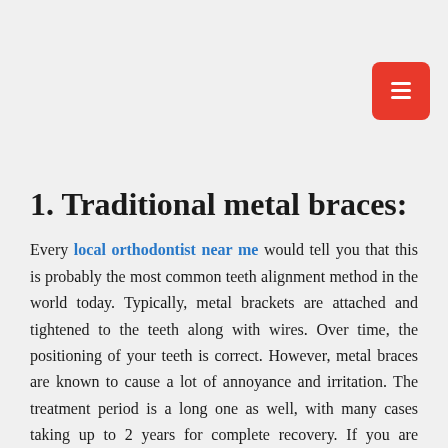[Figure (other): Red button with white icon in top right corner]
1.  Traditional metal braces:
Every local orthodontist near me would tell you that this is probably the most common teeth alignment method in the world today. Typically, metal brackets are attached and tightened to the teeth along with wires. Over time, the positioning of your teeth is correct. However, metal braces are known to cause a lot of annoyance and irritation. The treatment period is a long one as well, with many cases taking up to 2 years for complete recovery. If you are someone looking for traditional braces you can easily search on the web for “affordable metal braces near me” and get the best braces north Miami beach.
2. Colorful Braces:
Many of you know that there are many colorful braces available on the market. These colorful braces are unconventional choices but quite